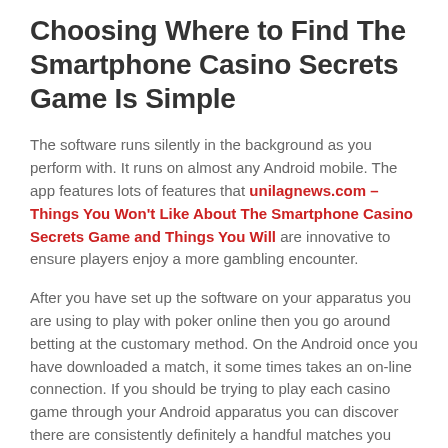Choosing Where to Find The Smartphone Casino Secrets Game Is Simple
The software runs silently in the background as you perform with. It runs on almost any Android mobile. The app features lots of features that unilagnews.com – Things You Won't Like About The Smartphone Casino Secrets Game and Things You Will are innovative to ensure players enjoy a more gambling encounter.
After you have set up the software on your apparatus you are using to play with poker online then you go around betting at the customary method. On the Android once you have downloaded a match, it some times takes an on-line connection. If you should be trying to play each casino game through your Android apparatus you can discover there are consistently definitely a handful matches you might not play together with